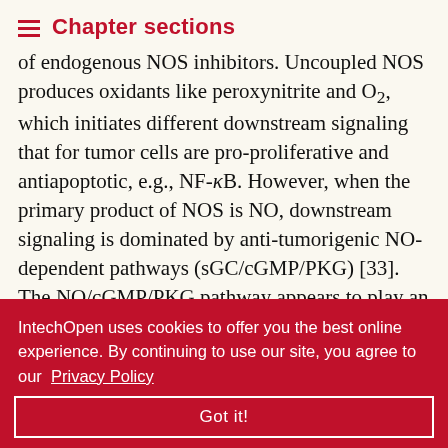Chapter sections
of endogenous NOS inhibitors. Uncoupled NOS produces oxidants like peroxynitrite and O₂, which initiates different downstream signaling that for tumor cells are pro-proliferative and antiapoptotic, e.g., NF-κB. However, when the primary product of NOS is NO, downstream signaling is dominated by anti-tumorigenic NO-dependent pathways (sGC/cGMP/PKG) [33]. The NO/cGMP/PKG pathway appears to play an essential role in promoting apoptosis, thus inhibiting tumor growth. ...cGMP/PKG...PDE5 inhibitors ..., as well as ...r cell (HT- ...tosis and ..., it was also ...lar levels of cGMP induced by the inhibition of PDE5
IntechOpen uses cookies to offer you the best online experience. By continuing to use our site, you agree to our Privacy Policy
Got it!